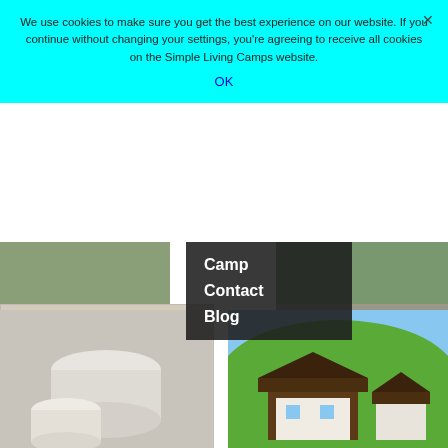We use cookies to make sure you get the best experience on our website. If you continue without changing your settings, you're agreeing to receive all cookies on the Simple Living Camps website.
OK
[Figure (photo): Cookie consent banner overlay on a website showing photos from Simple Living Camps, with navigation menu items Camp, Contact, Blog overlaid on dark background, and four photos: open notebook/logbook, rocky mountain trail with hikers, camping cups/mugs, and alpine chalet with green hillside.]